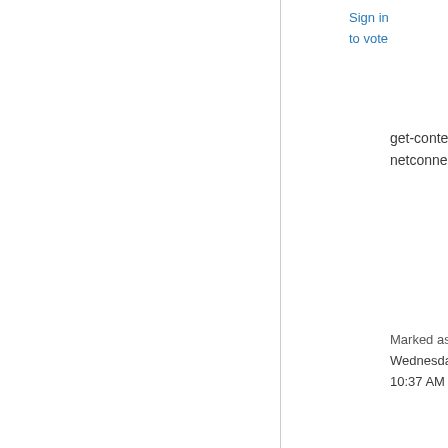Sign in
to vote
get-content hosts.txt | test-netconnection
Marked as answer by  Paratus
Wednesday, February 20, 2019 10:37 AM
Wednesday, February 20, 2019 8:07 AM
All replies
[Figure (photo): User avatar placeholder image (grey square with user icon)]